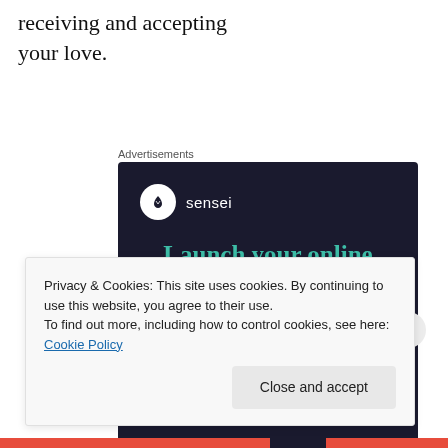receiving and accepting your love.
Advertisements
[Figure (illustration): Sensei advertisement: dark navy background with Sensei logo (tree in circle), headline 'Launch your online course with WordPress', and a teal 'Learn More' button.]
Privacy & Cookies: This site uses cookies. By continuing to use this website, you agree to their use.
To find out more, including how to control cookies, see here: Cookie Policy
Close and accept